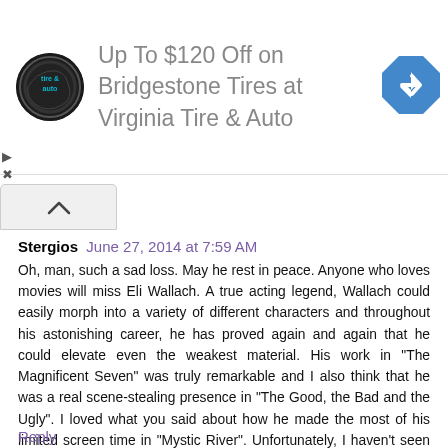[Figure (other): Advertisement banner: Virginia Tire & Auto logo (circular black badge), text 'Up To $120 Off on Bridgestone Tires at Virginia Tire & Auto', blue diamond navigation arrow icon on right]
Stergios  June 27, 2014 at 7:59 AM
Oh, man, such a sad loss. May he rest in peace. Anyone who loves movies will miss Eli Wallach. A true acting legend, Wallach could easily morph into a variety of different characters and throughout his astonishing career, he has proved again and again that he could elevate even the weakest material. His work in "The Magnificent Seven" was truly remarkable and I also think that he was a real scene-stealing presence in "The Good, the Bad and the Ugly". I loved what you said about how he made the most of his limited screen time in "Mystic River". Unfortunately, I haven't seen "Baby Doll", but I'm watching it as soon as possible. You made a wonderful tribute to a truly wonderful actor. Congratulations, my friend.
Reply